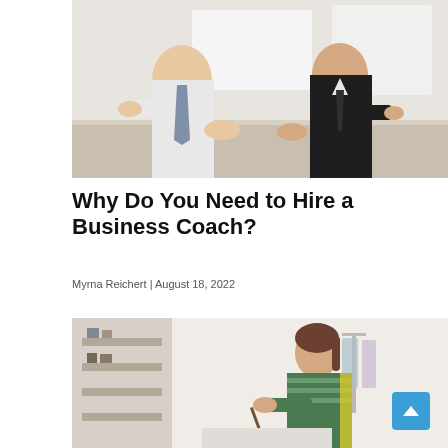[Figure (photo): Two businessmen in professional attire sitting at a table having a meeting, with a whiteboard in the background. One man wears a white shirt with tie, the other wears a dark suit.]
Why Do You Need to Hire a Business Coach?
Myrna Reichert | August 18, 2022
[Figure (photo): A woman in a striped green sweater writing or taking notes, photographed in what appears to be a retail or studio environment with shelving visible in the background.]